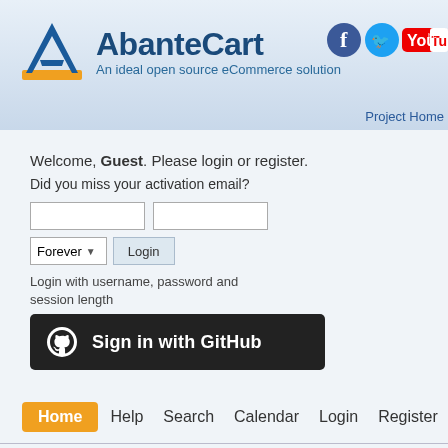[Figure (logo): AbanteCart logo with triangle A icon, title 'AbanteCart', subtitle 'An ideal open source eCommerce solution', and social media icons (Facebook, Twitter, YouTube)]
Project Home
Welcome, Guest. Please login or register.
Did you miss your activation email?
[Figure (screenshot): Login form with two text input fields, a Forever dropdown selector, and a Login button]
Login with username, password and session length
[Figure (other): Sign in with GitHub button (dark background with GitHub octocat icon)]
Home  Help  Search  Calendar  Login  Register
AbanteCart Community » eCommerce construction » Installation and Configuration
[Figure (other): CardConnect advertisement banner — 'cardconnect. A First Data Company' on left, 'Low Cost Payment Processing | W... Security Features | Full Lifecycle' on right]